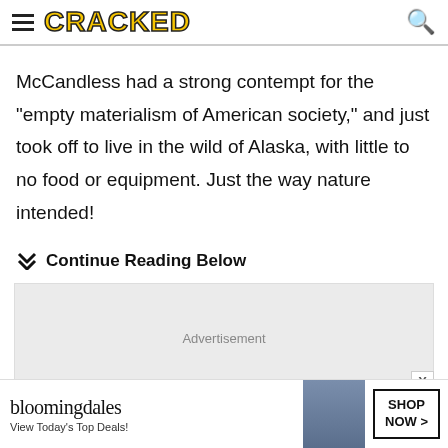CRACKED
McCandless had a strong contempt for the "empty materialism of American society," and just took off to live in the wild of Alaska, with little to no food or equipment. Just the way nature intended!
Continue Reading Below
[Figure (other): Advertisement placeholder box with 'Advertisement' label and close X button]
[Figure (other): Bloomingdale's banner advertisement: 'bloomingdales - View Today's Top Deals!' with SHOP NOW button and woman in hat image]